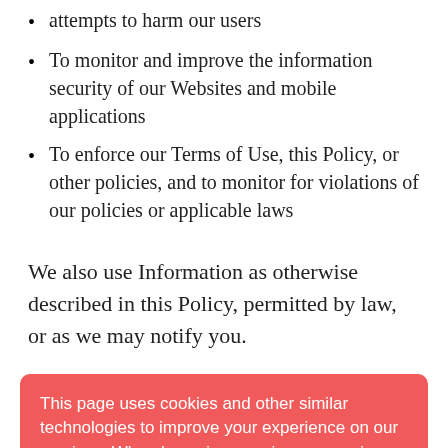attempts to harm our users
To monitor and improve the information security of our Websites and mobile applications
To enforce our Terms of Use, this Policy, or other policies, and to monitor for violations of our policies or applicable laws
We also use Information as otherwise described in this Policy, permitted by law, or as we may notify you.
This page uses cookies and other similar technologies to improve your experience on our services. When browsing or using our services, the user accepts the use of "cookies". Find out more in our Privacy Policy. Accept
see your name and/or username, profile picture, social